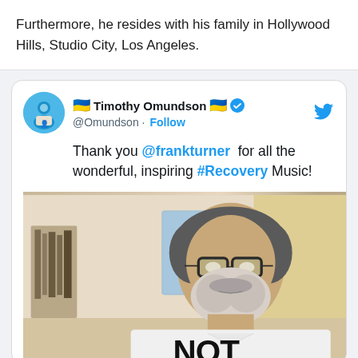Furthermore, he resides with his family in Hollywood Hills, Studio City, Los Angeles.
[Figure (screenshot): Embedded tweet from @Omundson (Timothy Omundson) with Ukraine flag emoji and verified badge, showing text: 'Thank you @frankturner for all the wonderful, inspiring #Recovery Music!' followed by a photo of a man with glasses, beard, and dark/grey hair wearing a white t-shirt with 'NOT' visible at the bottom.]